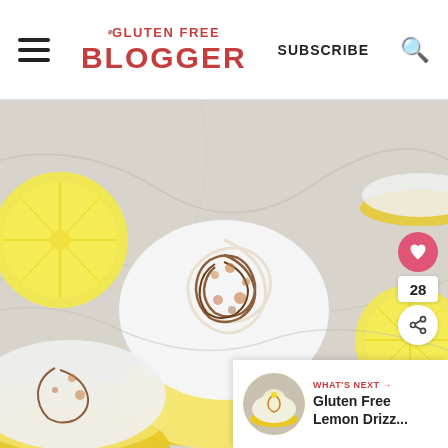THE GLUTEN FREE BLOGGER | SUBSCRIBE
[Figure (photo): Top-down photograph of lemon meringue cupcakes in yellow cupcake liners on a marble surface, with toasted swirled meringue topping. Halved lemons visible in the background. Social share buttons (heart, count 28, share) and a 'What's Next' panel showing Gluten Free Lemon Drizz... visible on the right side.]